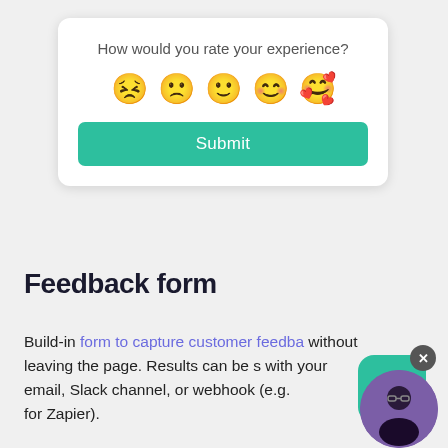[Figure (screenshot): Feedback rating widget card with emoji reactions (angry, frown, neutral, smile, love) and a teal Submit button on white card background]
[Figure (screenshot): Boei chat widget button - teal rounded square with speech bubble icon and X close badge, labeled 'by Boei']
Feedback form
Build-in form to capture customer feedback without leaving the page. Results can be shared with your email, Slack channel, or webhook (e.g. for Zapier).